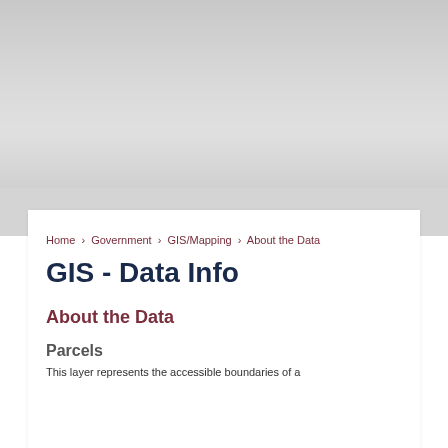Home › Government › GIS/Mapping › About the Data
GIS - Data Info
About the Data
Parcels
This layer represents the accessible boundaries of a...